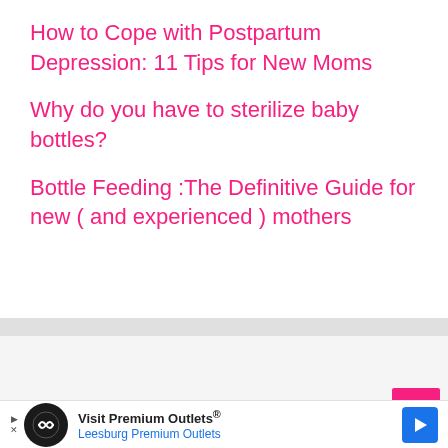How to Cope with Postpartum Depression: 11 Tips for New Moms
Why do you have to sterilize baby bottles?
Bottle Feeding :The Definitive Guide for new ( and experienced ) mothers
[Figure (other): Advertisement banner for Visit Premium Outlets - Leesburg Premium Outlets with logo and map pin icon]